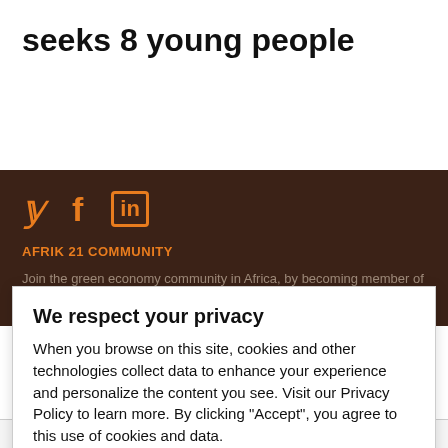seeks 8 young people
[Figure (infographic): Social media icons: Twitter bird (y), Facebook (f), LinkedIn (in) in orange]
AFRIK 21 COMMUNITY
Join the green economy community in Africa, by becoming member of the Afrik 21 Group on Linkedin
We respect your privacy
When you browse on this site, cookies and other technologies collect data to enhance your experience and personalize the content you see. Visit our Privacy Policy to learn more. By clicking "Accept", you agree to this use of cookies and data.
Accept
Last name